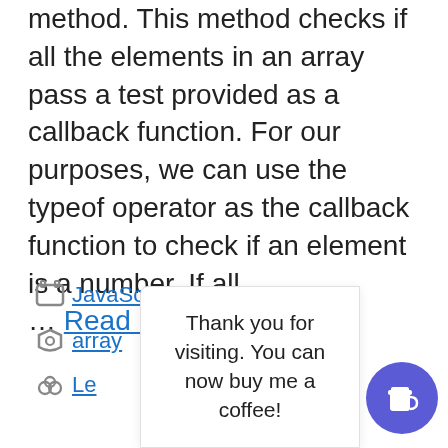numbers in JavaScript, use the every() method. This method checks if all the elements in an array pass a test provided as a callback function. For our purposes, we can use the typeof operator as the callback function to check if an element is a number. If all … Read more
JavaScript
array
Le
Thank you for visiting. You can now buy me a coffee!